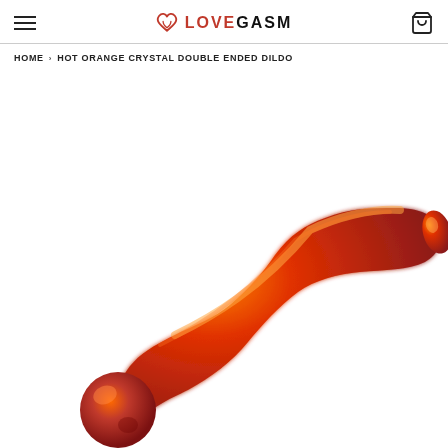LOVEGASM
HOME › HOT ORANGE CRYSTAL DOUBLE ENDED DILDO
[Figure (photo): A curved glass dildo with an orange-red gradient color. It has a round ball end at the bottom left and a smooth rounded tip at the upper right, with an S-curve shape in between. The glass is glossy and translucent showing orange and red hues.]